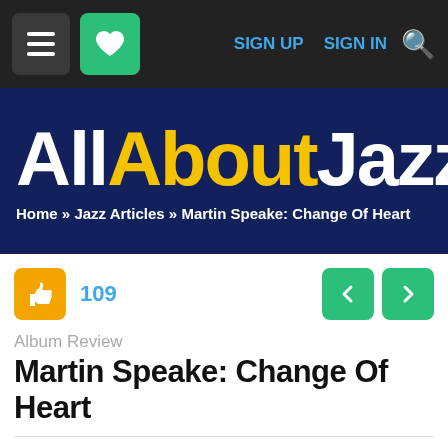SIGN UP  SIGN IN
[Figure (logo): All About Jazz logo on dark navy background with breadcrumb: Home » Jazz Articles » Martin Speake: Change Of Heart]
109
Album Review
Martin Speake: Change Of Heart